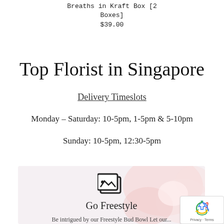Breaths in Kraft Box [2 Boxes]
$39.00
Top Florist in Singapore
Delivery Timeslots
Monday – Saturday: 10-5pm, 1-5pm & 5-10pm
Sunday: 10-5pm, 12:30-5pm
[Figure (illustration): Promotional card with image icon and 'Go Freestyle' heading over a floral background, with subtext 'Be intrigued by our Freestyle Bud Bowl...']